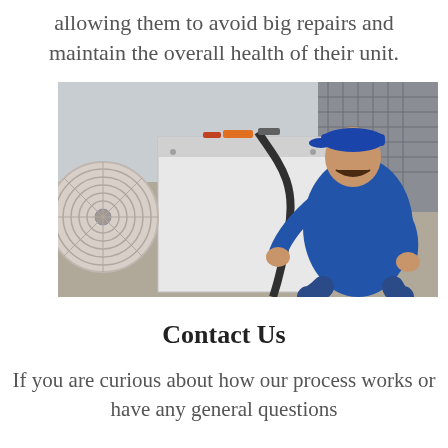allowing them to avoid big repairs and maintain the overall health of their unit.
[Figure (photo): A technician wearing a blue shirt and blue baseball cap crouches beside an outdoor HVAC/air conditioning unit on a rooftop, working on cables or refrigerant lines. Tools are visible on top of the unit.]
Contact Us
If you are curious about how our process works or have any general questions